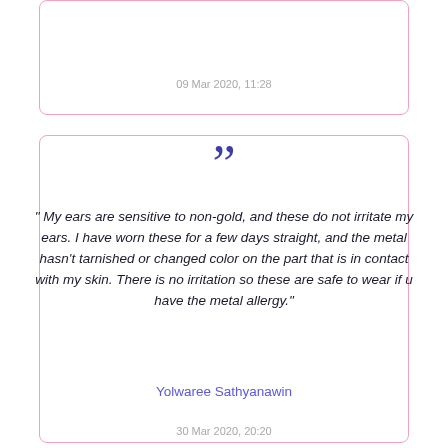09 Mar 2020, 11:28
“”
" My ears are sensitive to non-gold, and these do not irritate my ears. I have worn these for a few days straight, and the metal hasn't tarnished or changed color on the part that is in contact with my skin. There is no irritation so these are safe to wear if u have the metal allergy."
Yolwaree Sathyanawin
30 Mar 2020, 20:20